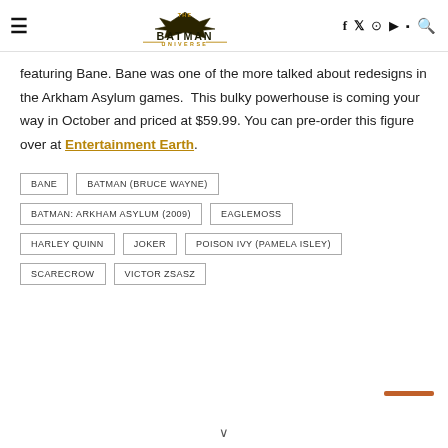The Batman Universe
featuring Bane. Bane was one of the more talked about redesigns in the Arkham Asylum games. This bulky powerhouse is coming your way in October and priced at $59.99. You can pre-order this figure over at Entertainment Earth.
BANE
BATMAN (BRUCE WAYNE)
BATMAN: ARKHAM ASYLUM (2009)
EAGLEMOSS
HARLEY QUINN
JOKER
POISON IVY (PAMELA ISLEY)
SCARECROW
VICTOR ZSASZ